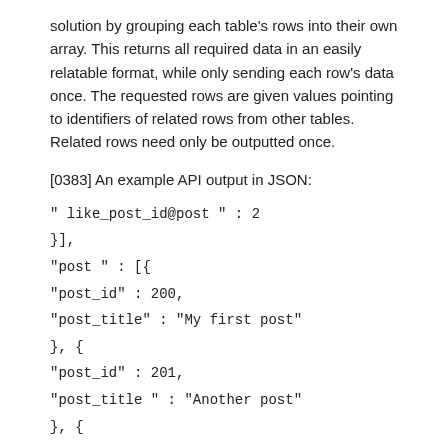solution by grouping each table's rows into their own array. This returns all required data in an easily relatable format, while only sending each row's data once. The requested rows are given values pointing to identifiers of related rows from other tables. Related rows need only be outputted once.
[0383] An example API output in JSON:
" like_post_id@post " : 2
}],
"post " : [{
"post_id" : 200,
"post_title" : "My first post"
}, {
"post_id" : 201,
"post_title " : "Another post"
}, {